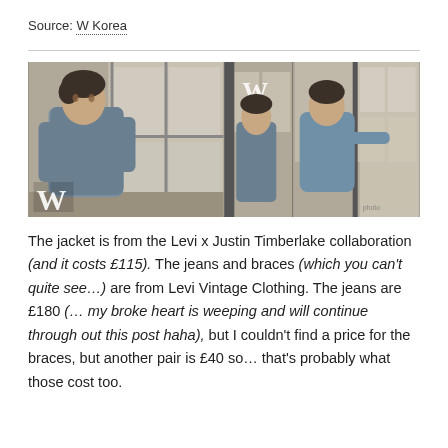Source: W Korea
[Figure (photo): Two fashion editorial photos side by side from W Korea magazine, showing a young man in a denim jacket and jeans posing near a window with a city building backdrop.]
The jacket is from the Levi x Justin Timberlake collaboration (and it costs £115). The jeans and braces (which you can't quite see…) are from Levi Vintage Clothing. The jeans are £180 (… my broke heart is weeping and will continue through out this post haha), but I couldn't find a price for the braces, but another pair is £40 so… that's probably what those cost too.